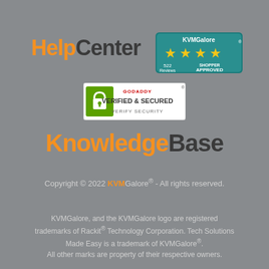[Figure (logo): HelpCenter logo with 'Help' in orange and 'Center' in dark gray, bold large text]
[Figure (logo): KVMGalore Shopper Approved badge with 4 gold stars, 522 Reviews text on teal background]
[Figure (logo): GoDaddy Verified & Secured badge with lock icon and 'VERIFY SECURITY' text]
[Figure (logo): KnowledgeBase logo with 'Knowledge' in orange and 'Base' in dark gray, bold large text]
Copyright © 2022 KVMGalore® - All rights reserved.
KVMGalore, and the KVMGalore logo are registered trademarks of Rackit® Technology Corporation. Tech Solutions Made Easy is a trademark of KVMGalore®.
All other marks are property of their respective owners.